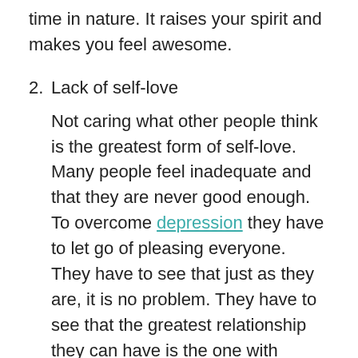time in nature. It raises your spirit and makes you feel awesome.
2. Lack of self-love
Not caring what other people think is the greatest form of self-love. Many people feel inadequate and that they are never good enough. To overcome depression they have to let go of pleasing everyone.  They have to see that just as they are, it is no problem. They have to see that the greatest relationship they can have is the one with themselves. Nobody can love them greater than they can love themselves.